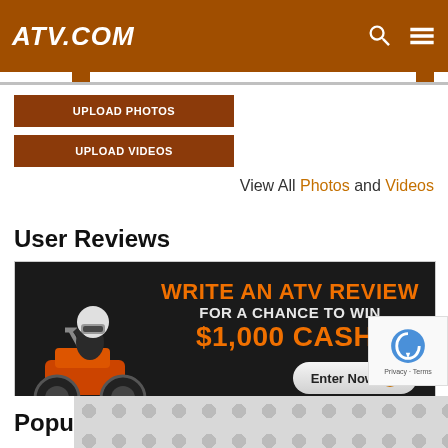ATV.COM
UPLOAD PHOTOS
UPLOAD VIDEOS
View All Photos and Videos
User Reviews
[Figure (infographic): Promotional banner ad showing an ATV rider kicking up dirt alongside text: WRITE AN ATV REVIEW FOR A CHANCE TO WIN $1,000 CASH! with an Enter Now button and ATV.COM branding]
WRITE A REVIEW
Popu